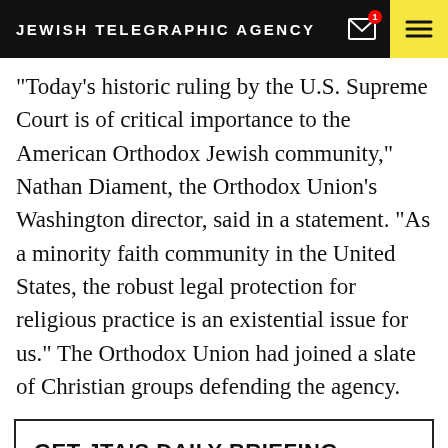JEWISH TELEGRAPHIC AGENCY
“Today’s historic ruling by the U.S. Supreme Court is of critical importance to the American Orthodox Jewish community,” Nathan Diament, the Orthodox Union’s Washington director, said in a statement. “As a minority faith community in the United States, the robust legal protection for religious practice is an existential issue for us.” The Orthodox Union had joined a slate of Christian groups defending the agency.
GET JTA'S DAILY BRIEFING
Enter your email address to get the latest headlines in your inbox.